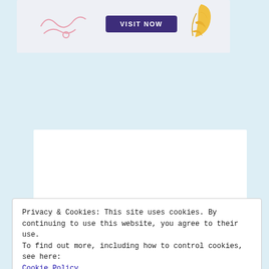[Figure (screenshot): Top banner with 'VISIT NOW' purple button, decorative pink squiggle left and golden leaf right, light gray background]
[Figure (logo): Amazon logo — black lowercase 'amazon' text with orange arrow smile beneath, on white card background]
Privacy & Cookies: This site uses cookies. By continuing to use this website, you agree to their use.
To find out more, including how to control cookies, see here:
Cookie Policy
Close and accept